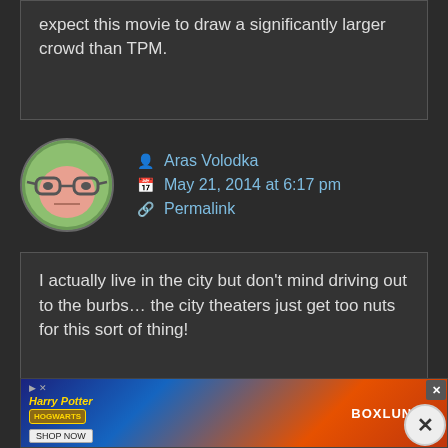expect this movie to draw a significantly larger crowd than TPM.
Aras Volodka
May 21, 2014 at 6:17 pm
Permalink
I actually live in the city but don't mind driving out to the burbs... the city theaters just get too nuts for this sort of thing!
Darth Cylon
[Figure (photo): Advertisement banner showing Harry Potter Hogwarts merchandise and BoxLunch branding]